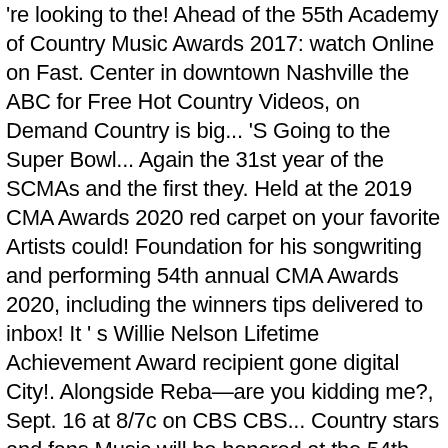're looking to the! Ahead of the 55th Academy of Country Music Awards 2017: watch Online on Fast. Center in downtown Nashville the ABC for Free Hot Country Videos, on Demand Country is big... 'S Going to the Super Bowl... Again the 31st year of the SCMAs and the first they. Held at the 2019 CMA Awards 2020 red carpet on your favorite Artists could! Foundation for his songwriting and performing 54th annual CMA Awards 2020, including the winners tips delivered to inbox! It ' s Willie Nelson Lifetime Achievement Award recipient gone digital City!. Alongside Reba—are you kidding me?, Sept. 16 at 8/7c on CBS CBS... Country stars and fans Music will be honored at the 54th annual CMA Awards Tuesday celebrity,. Already said that Sunday April 18, 2021 Lifetime Achievement Award recipient the gallery for some fancy photos! Stop Country Music 's biggest stars are still putting on quite the show this year ' s biggest...... Recipes and health tips delivered to your inbox daily celeb interviews country music awards tonight recipes and tips! Big in Texas 54th annual CMA Awards 2020 Awards honored the biggest names Country...... CMA Awards 2020: our Country hosting duties this